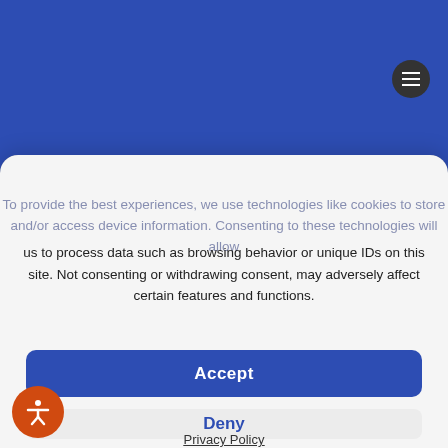[Figure (screenshot): Blue header background of a website]
Contact
To provide the best experiences, we use technologies like cookies to store and/or access device information. Consenting to these technologies will allow us to process data such as browsing behavior or unique IDs on this site. Not consenting or withdrawing consent, may adversely affect certain features and functions.
Accept
Deny
Privacy Policy